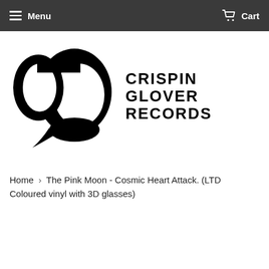Menu   Cart
[Figure (logo): Crispin Glover Records logo — black silhouette of a head with hair on the left, and bold stencil-style text reading CRISPIN GLOVER RECORDS on the right]
Home › The Pink Moon - Cosmic Heart Attack. (LTD Coloured vinyl with 3D glasses)